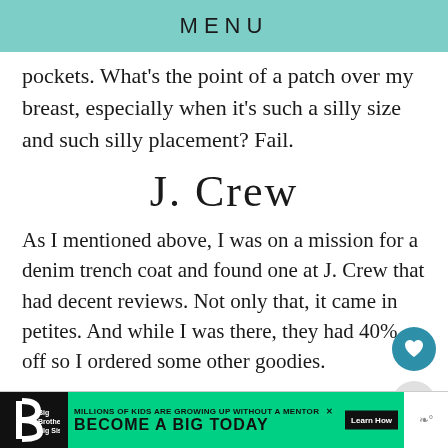MENU
pockets. What's the point of a patch over my breast, especially when it's such a silly size and such silly placement? Fail.
J. Crew
As I mentioned above, I was on a mission for a denim trench coat and found one at J. Crew that had decent reviews. Not only that, it came in petites. And while I was there, they had 40% off so I ordered some other goodies.
[Figure (infographic): Advertisement banner: Big Brothers Big Sisters logo, green background with text 'MILLIONS OF KIDS ARE GROWING UP WITHOUT A MENTOR. BECOME A BIG TODAY' and 'Learn How' button]